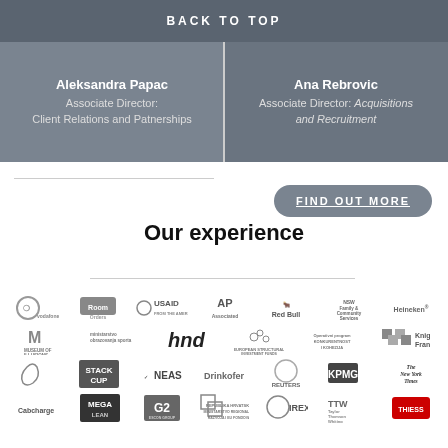BACK TO TOP
Aleksandra Papac
Associate Director:
Client Relations and Patnerships
Ana Rebrovic
Associate Director: Acquisitions and Recruitment
FIND OUT MORE
Our experience
[Figure (logo): Grid of company logos including Vodafone, RoomOrders, USAID, Associated Press, Red Bull, NSW Family & Community Services, Heineken, Museum of Illusions, Ministarstvo obrazovanja sporta, hnd, European Structural Investment Funds, Operation program Konkurentnost i kohezija, Knight Frank, Hyder, Stack Cup, NEAS, Drinkofer, Reuters, KPMG, The New York Times, Cabcharge, MEGA, G2, Republic of something, IREX, TTW Taylor Thomson Whiting, Thiess]